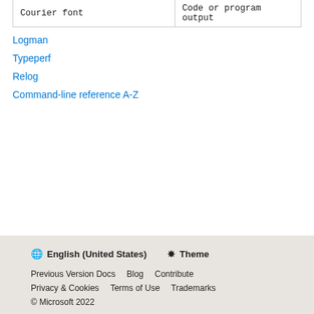| Courier font | Code or program output |
Logman
Typeperf
Relog
Command-line reference A-Z
🌐 English (United States)  ☀ Theme
Previous Version Docs  Blog  Contribute
Privacy & Cookies  Terms of Use  Trademarks
© Microsoft 2022